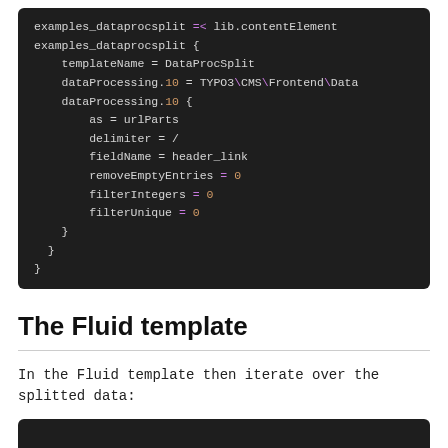[Figure (screenshot): Dark-themed code block showing TypoScript configuration for examples_dataprocsplit with DataProcSplit data processing settings including templateName, dataProcessing.10 referencing TYPO3\CMS\Frontend\Data..., and nested properties: as = urlParts, delimiter = /, fieldName = header_link, removeEmptyEntries = 0, filterIntegers = 0, filterUnique = 0]
The Fluid template
In the Fluid template then iterate over the splitted data:
[Figure (screenshot): Beginning of another dark-themed code block (bottom of page, content cut off)]